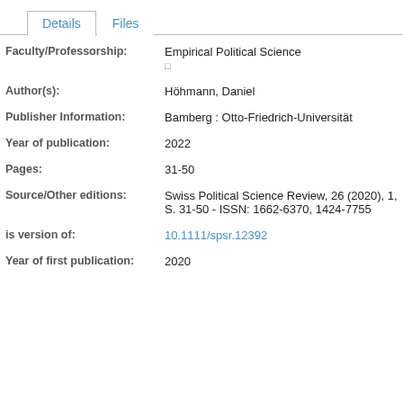Details | Files
| Field | Value |
| --- | --- |
| Faculty/Professorship: | Empirical Political Science |
| Author(s): | Höhmann, Daniel |
| Publisher Information: | Bamberg : Otto-Friedrich-Universität |
| Year of publication: | 2022 |
| Pages: | 31-50 |
| Source/Other editions: | Swiss Political Science Review, 26 (2020), 1, S. 31-50 - ISSN: 1662-6370, 1424-7755 |
| is version of: | 10.1111/spsr.12392 |
| Year of first publication: | 2020 |